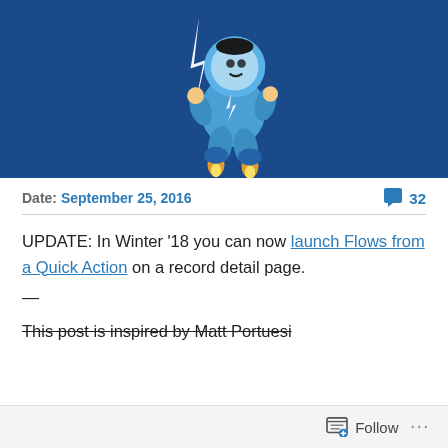[Figure (illustration): Cartoon Salesforce mascot (astronaut in blue spacesuit with lightning bolt, holding a staff, with rocket boots) on a dark blue background]
Date: September 25, 2016   💬 32
UPDATE: In Winter '18 you can now launch Flows from a Quick Action on a record detail page.
—
This post is inspired by Matt Portuesi